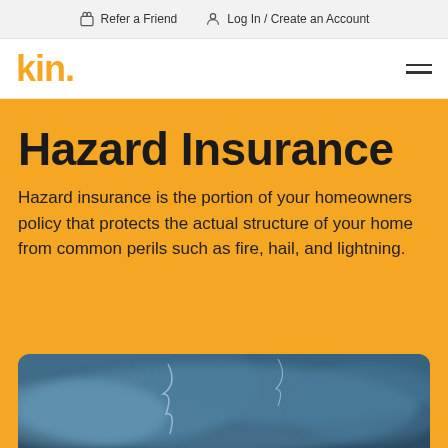🎁 Refer a Friend   🔘 Log In / Create an Account
[Figure (logo): kin. logo in orange/yellow with hamburger menu icon]
Hazard Insurance
Hazard insurance is the portion of your homeowners policy that protects the actual structure of your home from common perils such as fire, hail, and lightning.
[Figure (photo): Dark stormy sky with lightning clouds, blue-grey tones]